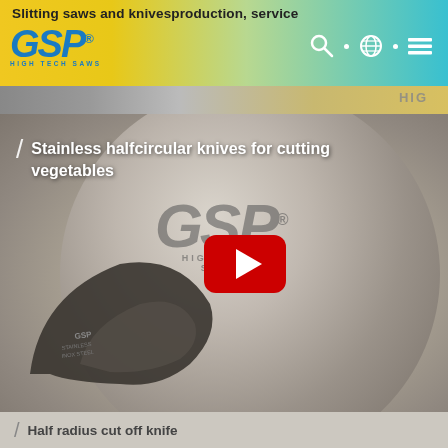Slitting saws and knivesproduction, service
[Figure (logo): GSP High Tech Saws logo in blue italic text with tagline 'HIGH TECH SAWS']
[Figure (screenshot): Navigation icons: search magnifying glass, globe/language selector, hamburger menu]
[Figure (photo): Partial image strip showing industrial/saw equipment in yellow/gold tones]
[Figure (screenshot): Video thumbnail showing stainless halfcircular knives on a GSP High Tech Saws branded metal disc, with a YouTube-style red play button in center]
Stainless halfcircular knives for cutting vegetables
Half radius cut off knife